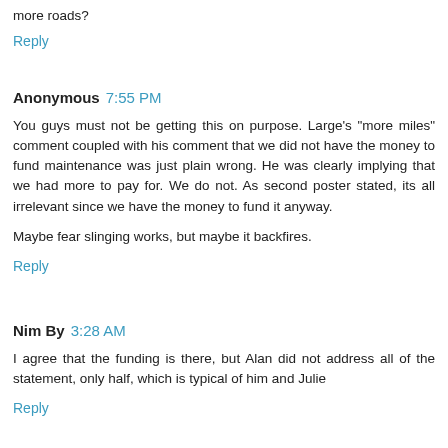more roads?
Reply
Anonymous 7:55 PM
You guys must not be getting this on purpose. Large's "more miles" comment coupled with his comment that we did not have the money to fund maintenance was just plain wrong. He was clearly implying that we had more to pay for. We do not. As second poster stated, its all irrelevant since we have the money to fund it anyway.
Maybe fear slinging works, but maybe it backfires.
Reply
Nim By 3:28 AM
I agree that the funding is there, but Alan did not address all of the statement, only half, which is typical of him and Julie
Reply